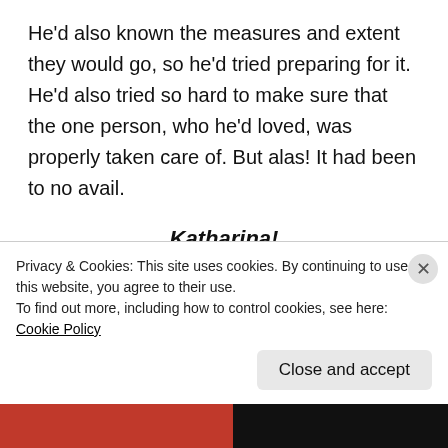He'd also known the measures and extent they would go, so he'd tried preparing for it. He'd also tried so hard to make sure that the one person, who he'd loved, was properly taken care of. But alas! It had been to no avail.
Katharina!
He'd met her on one of his assignments, in fact, she had been his assignment. He'd been told that she was a threat, and had to be eliminated without it
Privacy & Cookies: This site uses cookies. By continuing to use this website, you agree to their use.
To find out more, including how to control cookies, see here: Cookie Policy